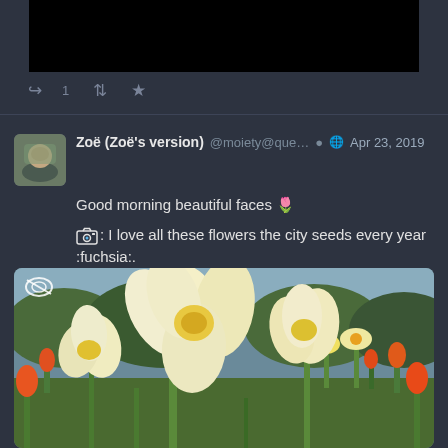[Figure (photo): Black rectangle at top, appears to be a blacked-out or hidden image]
↩ 1  ↺  ★
Zoë (Zoë's version) @moiety@que...  🌐 Apr 23, 2019
Good morning beautiful faces 🌷

📷: I love all these flowers the city seeds every year :fuchsia:.
[Figure (photo): Close-up photograph of yellow/cream daffodil flowers with orange tulips in the background, taken in a garden or park setting]